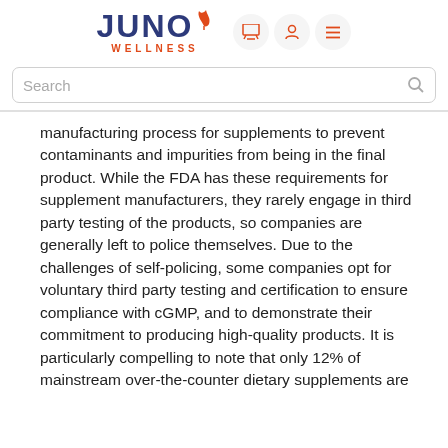JUNO WELLNESS
manufacturing process for supplements to prevent contaminants and impurities from being in the final product. While the FDA has these requirements for supplement manufacturers, they rarely engage in third party testing of the products, so companies are generally left to police themselves. Due to the challenges of self-policing, some companies opt for voluntary third party testing and certification to ensure compliance with cGMP, and to demonstrate their commitment to producing high-quality products. It is particularly compelling to note that only 12% of mainstream over-the-counter dietary supplements are